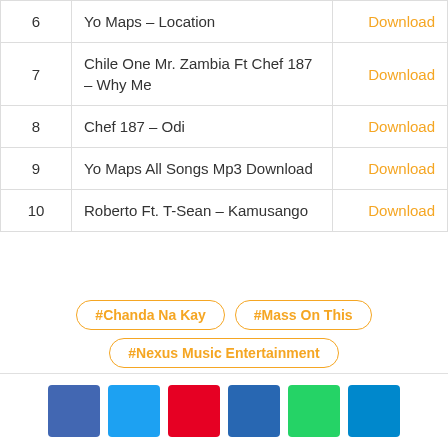| # | Song |  |
| --- | --- | --- |
| 6 | Yo Maps – Location | Download |
| 7 | Chile One Mr. Zambia Ft Chef 187 – Why Me | Download |
| 8 | Chef 187 – Odi | Download |
| 9 | Yo Maps All Songs Mp3 Download | Download |
| 10 | Roberto Ft. T-Sean – Kamusango | Download |
#Chanda Na Kay
#Mass On This
#Nexus Music Entertainment
[Figure (infographic): Social share buttons: Facebook (blue), Twitter (light blue), Pinterest (red), LinkedIn (dark blue), WhatsApp (green), Telegram (teal)]